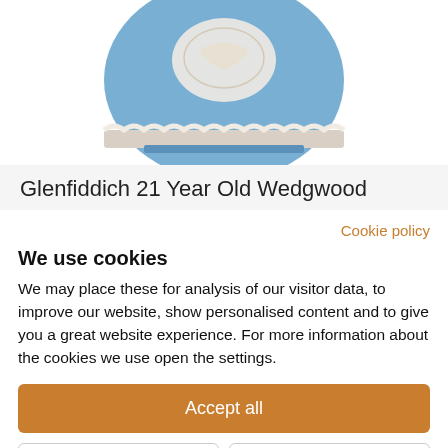[Figure (photo): Partial view of a light blue Wedgwood ceramic decanter with white relief decoration on a white background]
Glenfiddich 21 Year Old Wedgwood Centenary Decanter
Cookie policy
We use cookies
We may place these for analysis of our visitor data, to improve our website, show personalised content and to give you a great website experience. For more information about the cookies we use open the settings.
Accept all
Deny
No, adjust